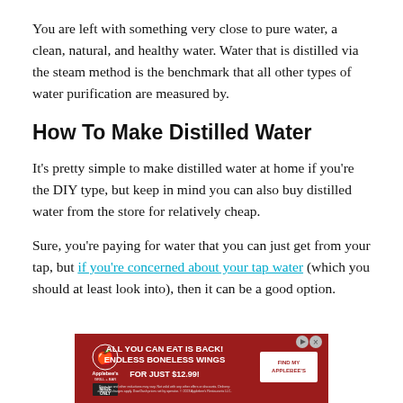You are left with something very close to pure water, a clean, natural, and healthy water. Water that is distilled via the steam method is the benchmark that all other types of water purification are measured by.
How To Make Distilled Water
It's pretty simple to make distilled water at home if you're the DIY type, but keep in mind you can also buy distilled water from the store for relatively cheap.
Sure, you're paying for water that you can just get from your tap, but if you're concerned about your tap water (which you should at least look into), then it can be a good option.
[Figure (other): Applebee's advertisement banner: red background with Applebee's logo, text 'ALL YOU CAN EAT IS BACK! ENDLESS BONELESS WINGS FOR JUST $12.99!' and a 'FIND MY APPLEBEE'S' button.]